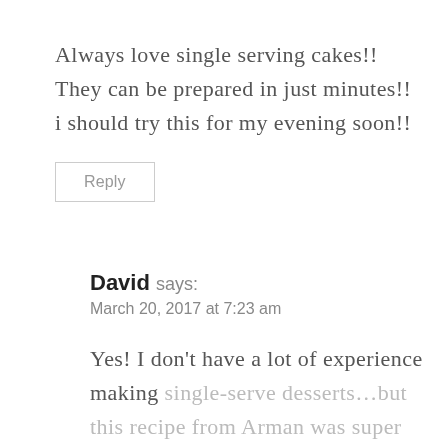Always love single serving cakes!! They can be prepared in just minutes!! i should try this for my evening soon!!
Reply
David says:
March 20, 2017 at 7:23 am
Yes! I don't have a lot of experience making single-serve desserts…but this recipe from Arman was super fun! Plus, it involved fresh